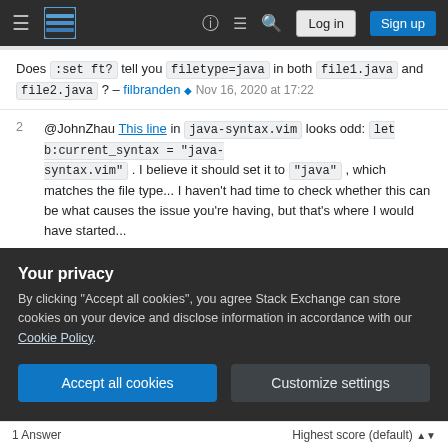Stack Exchange navigation bar with Log in and Sign up buttons
Does :set ft? tell you filetype=java in both file1.java and file2.java ? – filbranden ♦ Nov 16, 2020 at 17:22
@JohnZhau This line in java-syntax.vim looks odd: let b:current_syntax = "java-syntax.vim" . I believe it should set it to "java" , which matches the file type... I haven't had time to check whether this can be what causes the issue you're having, but that's where I would have started... – filbranden ♦ Nov 17, 2020 at 17:56
I've found that disabling sheerun/vim-polyglot
Your privacy
By clicking "Accept all cookies", you agree Stack Exchange can store cookies on your device and disclose information in accordance with our Cookie Policy.
Accept all cookies  Customize settings
1 Answer   Highest score (default)